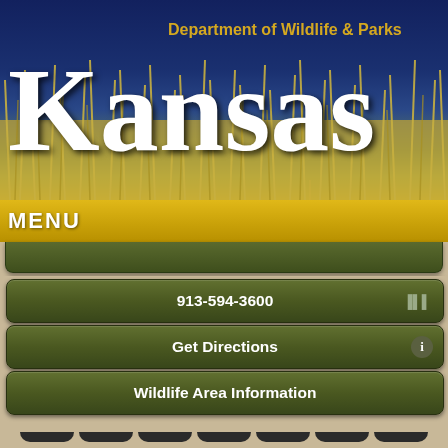[Figure (screenshot): Kansas Department of Wildlife & Parks header banner with blue sky background, golden grass, large white 'Kansas' text and gold 'Department of Wildlife & Parks' subtitle]
MENU
913-594-3600
Get Directions
Wildlife Area Information
Waterfowl Report
Historical Information
Special Regulations
Fishing Information
State Park Information
[Figure (screenshot): Bottom icon bar with 7 dark rounded square icons representing news, map, building, fish/regulations, camera, fish, and tree]